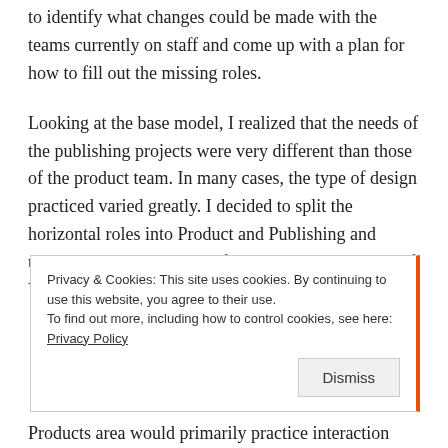organization structure aligned for growth. I needed to identify what changes could be made with the teams currently on staff and come up with a plan for how to fill out the missing roles.
Looking at the base model, I realized that the needs of the publishing projects were very different than those of the product team. In many cases, the type of design practiced varied greatly. I decided to split the horizontal roles into Product and Publishing and under each place the role of UI Design and the role of Visual Design...
Privacy & Cookies: This site uses cookies. By continuing to use this website, you agree to their use.
To find out more, including how to control cookies, see here: Privacy Policy
Products area would primarily practice interaction